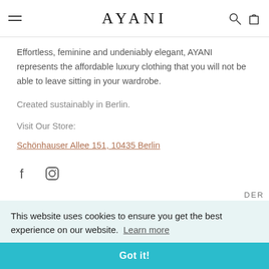AYANI
Effortless, feminine and undeniably elegant, AYANI represents the affordable luxury clothing that you will not be able to leave sitting in your wardrobe.
Created sustainably in Berlin.
Visit Our Store:
Schönhauser Allee 151, 10435 Berlin
[Figure (other): Facebook and Instagram social media icons]
This website uses cookies to ensure you get the best experience on our website. Learn more
Got it!